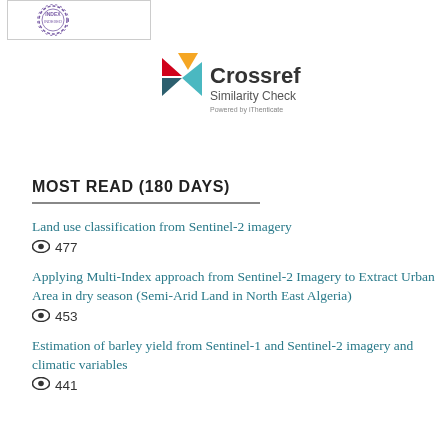[Figure (logo): Index Indexed stamp/seal logo in a bordered box]
[Figure (logo): Crossref Similarity Check Powered by iThenticate logo with colorful arrow/chevron shapes]
MOST READ (180 DAYS)
Land use classification from Sentinel-2 imagery
👁 477
Applying Multi-Index approach from Sentinel-2 Imagery to Extract Urban Area in dry season (Semi-Arid Land in North East Algeria)
👁 453
Estimation of barley yield from Sentinel-1 and Sentinel-2 imagery and climatic variables
👁 441